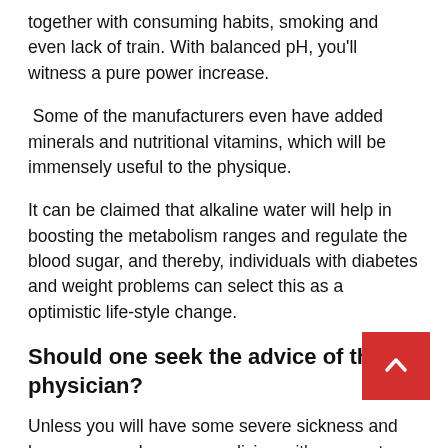together with consuming habits, smoking and even lack of train. With balanced pH, you'll witness a pure power increase.
Some of the manufacturers even have added minerals and nutritional vitamins, which will be immensely useful to the physique.
It can be claimed that alkaline water will help in boosting the metabolism ranges and regulate the blood sugar, and thereby, individuals with diabetes and weight problems can select this as a optimistic life-style change.
Should one seek the advice of the physician?
Unless you will have some severe sickness and have been on medicines, it's secure to start out with alkaline water. There aren't any unwanted side effects in anyway, and it's simple to seek out reliable manufacturers.